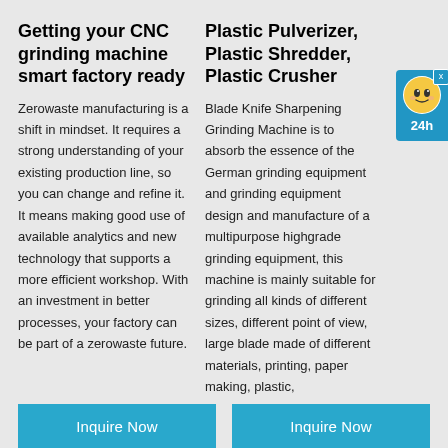Getting your CNC grinding machine smart factory ready
Zerowaste manufacturing is a shift in mindset. It requires a strong understanding of your existing production line, so you can change and refine it. It means making good use of available analytics and new technology that supports a more efficient workshop. With an investment in better processes, your factory can be part of a zerowaste future.
Plastic Pulverizer, Plastic Shredder, Plastic Crusher
Blade Knife Sharpening Grinding Machine is to absorb the essence of the German grinding equipment and grinding equipment design and manufacture of a multipurpose highgrade grinding equipment, this machine is mainly suitable for grinding all kinds of different sizes, different point of view, large blade made of different materials, printing, paper making, plastic,
[Figure (illustration): Chat widget with robot icon and 24h label]
Inquire Now
Inquire Now